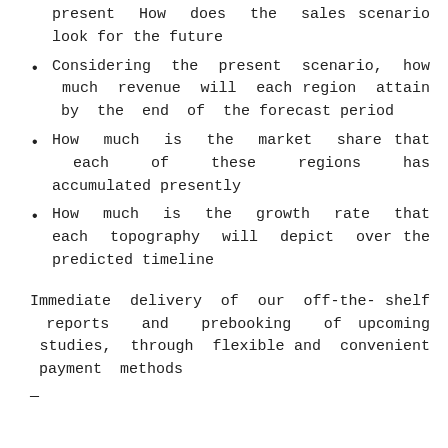present How does the sales scenario look for the future
Considering the present scenario, how much revenue will each region attain by the end of the forecast period
How much is the market share that each of these regions has accumulated presently
How much is the growth rate that each topography will depict over the predicted timeline
Immediate delivery of our off-the-shelf reports and prebooking of upcoming studies, through flexible and convenient payment methods
—